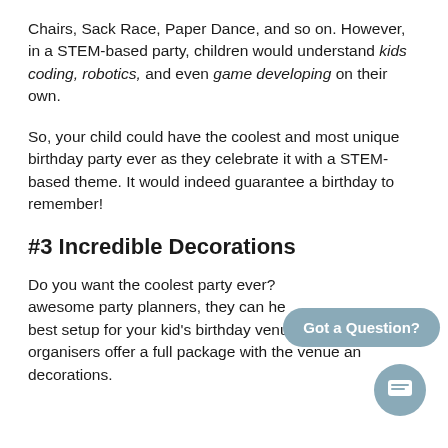Chairs, Sack Race, Paper Dance, and so on. However, in a STEM-based party, children would understand kids coding, robotics, and even game developing on their own.
So, your child could have the coolest and most unique birthday party ever as they celebrate it with a STEM-based theme. It would indeed guarantee a birthday to remember!
#3 Incredible Decorations
Do you want the coolest party ever? With awesome party planners, they can help with the best setup for your kid's birthday venue. Some party organisers offer a full package with the venue and decorations.